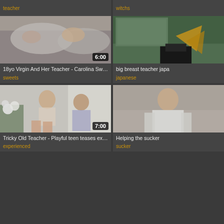teacher
witchs
[Figure (photo): Two people lying in bed, bedroom scene, duration badge 6:00]
[Figure (photo): Room with green wall and yellow/orange decorative element, partial view]
18yo Virgin And Her Teacher - Carolina Sweets
big breast teacher japa
sweets
japanese
[Figure (photo): Young woman and older man sitting together in bright room, duration badge 7:00]
[Figure (photo): Person in white t-shirt, partial view]
Tricky Old Teacher - Playful teen teases experience...
Helping the sucker
experienced
sucker